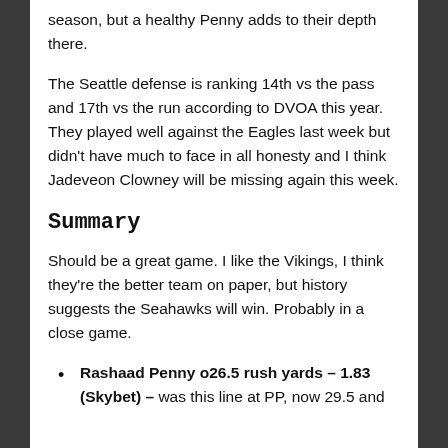season, but a healthy Penny adds to their depth there.
The Seattle defense is ranking 14th vs the pass and 17th vs the run according to DVOA this year. They played well against the Eagles last week but didn't have much to face in all honesty and I think Jadeveon Clowney will be missing again this week.
Summary
Should be a great game. I like the Vikings, I think they're the better team on paper, but history suggests the Seahawks will win. Probably in a close game.
Rashaad Penny o26.5 rush yards – 1.83 (Skybet) – was this line at PP, now 29.5 and